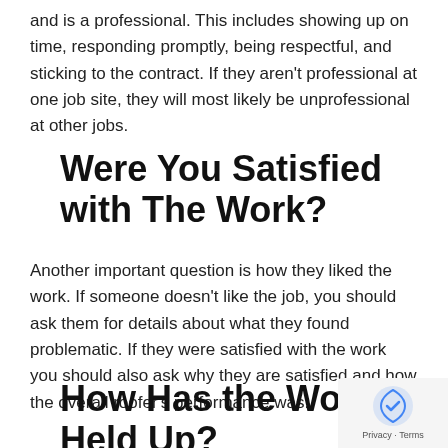and is a professional. This includes showing up on time, responding promptly, being respectful, and sticking to the contract. If they aren't professional at one job site, they will most likely be unprofessional at other jobs.
Were You Satisfied with The Work?
Another important question is how they liked the work. If someone doesn't like the job, you should ask them for details about what they found problematic. If they were satisfied with the work you should also ask why they are satisfied and how the overall roofer's performance was.
How Has the Work Held Up?